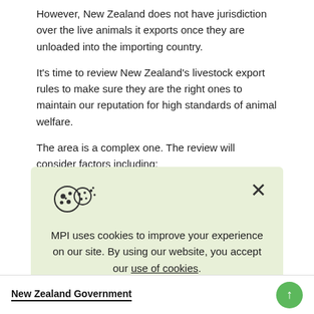However, New Zealand does not have jurisdiction over the live animals it exports once they are unloaded into the importing country.
It’s time to review New Zealand’s livestock export rules to make sure they are the right ones to maintain our reputation for high standards of animal welfare.
The area is a complex one. The review will consider factors including:
[Figure (screenshot): Cookie consent banner with a cookie icon and close X button. Text reads: MPI uses cookies to improve your experience on our site. By using our website, you accept our use of cookies.]
New Zealand Government